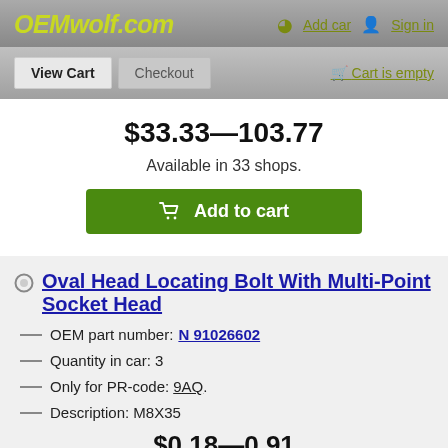OEMwolf.com — Add car | Sign in
View Cart | Checkout | Cart is empty
$33.33—103.77
Available in 33 shops.
Add to cart
Oval Head Locating Bolt With Multi-Point Socket Head
OEM part number: N 91026602
Quantity in car: 3
Only for PR-code: 9AQ.
Description: M8X35
$0.18—0.91